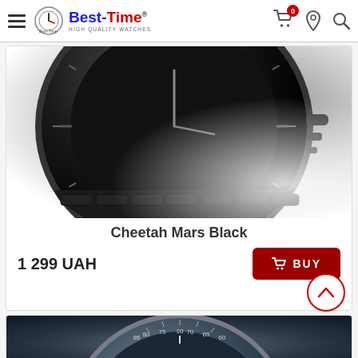Best-Time HIGH QUALITY WATCHES — navigation header with menu, cart (0), location, search icons
[Figure (photo): Close-up photo of a black Cheetah Mars Black watch with black dial, black steel bracelet, chronograph pushers, fading to white background]
Cheetah Mars Black
1 299 UAH
[Figure (photo): Close-up photo of a second watch with dark blue/grey tachymeter bezel and dial, partially visible, showing minute markers 10, 70, 75, 80, 85, 65, 60]